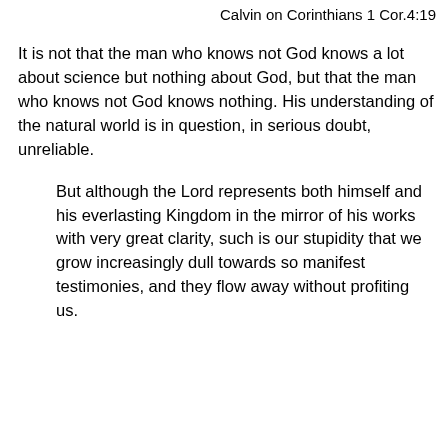Calvin on Corinthians 1 Cor.4:19
It is not that the man who knows not God knows a lot about science but nothing about God, but that the man who knows not God knows nothing. His understanding of the natural world is in question, in serious doubt, unreliable.
But although the Lord represents both himself and his everlasting Kingdom in the mirror of his works with very great clarity, such is our stupidity that we grow increasingly dull towards so manifest testimonies, and they flow away without profiting us.